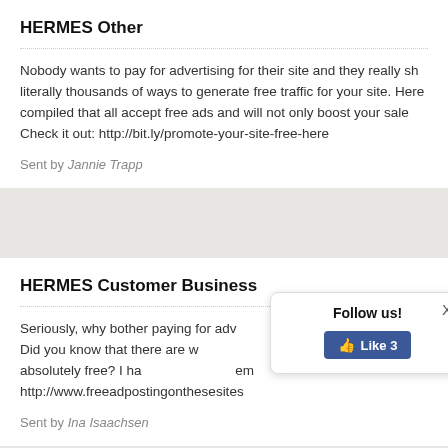HERMES Other
Nobody wants to pay for advertising for their site and they really sh literally thousands of ways to generate free traffic for your site. Here compiled that all accept free ads and will not only boost your sale Check it out: http://bit.ly/promote-your-site-free-here
Sent by Jannie Trapp
HERMES Customer Business
Seriously, why bother paying for adv t fo either. Did you know that there are w kes your website for absolutely free? I ha em http://www.freeadpostingonthesesites
Sent by Ina Isaachsen
[Figure (screenshot): Follow us popup with a Facebook Like button showing 'Like 3' and an X close button]